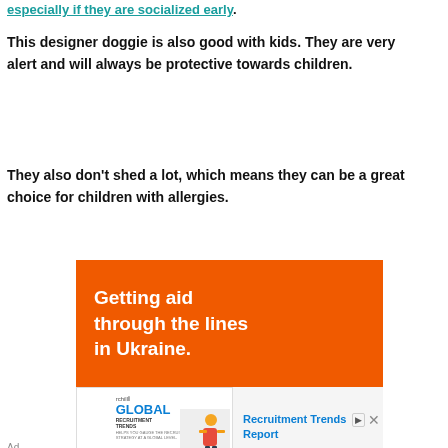especially if they are socialized early.
This designer doggie is also good with kids. They are very alert and will always be protective towards children.
They also don't shed a lot, which means they can be a great choice for children with allergies.
[Figure (other): Advertisement banner with orange background showing text 'Getting aid through the lines in Ukraine.' followed by a secondary ad for RChilli Global Recruitment Trends Report]
Ad